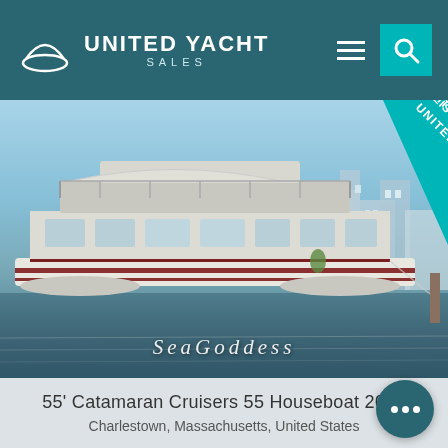United Yacht Sales
[Figure (photo): Houseboat named SeaGoddess docked at a marina, with white hull, upper deck with railing and canopy, buildings visible in background. United Listing ribbon badge in top-right corner.]
55' Catamaran Cruisers 55 Houseboat 2011
Charlestown, Massachusetts, United States